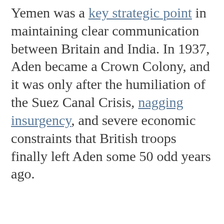Yemen was a key strategic point in maintaining clear communication between Britain and India. In 1937, Aden became a Crown Colony, and it was only after the humiliation of the Suez Canal Crisis, nagging insurgency, and severe economic constraints that British troops finally left Aden some 50 odd years ago.